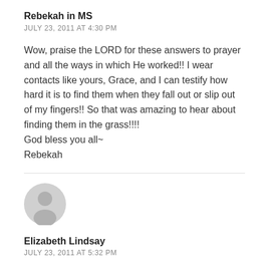Rebekah in MS
JULY 23, 2011 AT 4:30 PM
Wow, praise the LORD for these answers to prayer and all the ways in which He worked!! I wear contacts like yours, Grace, and I can testify how hard it is to find them when they fall out or slip out of my fingers!! So that was amazing to hear about finding them in the grass!!!!
God bless you all~
Rebekah
[Figure (illustration): Default user avatar icon — grey circle with grey silhouette of a person]
Elizabeth Lindsay
JULY 23, 2011 AT 5:32 PM